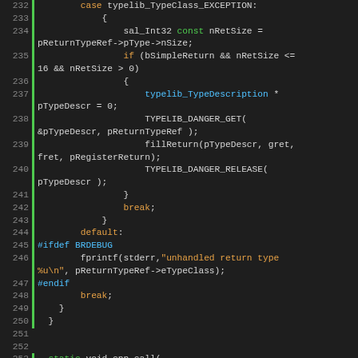[Figure (screenshot): Source code screenshot showing C++ code lines 232-256 with syntax highlighting. Dark background IDE view with line numbers, green vertical bar markers, and colored keywords.]